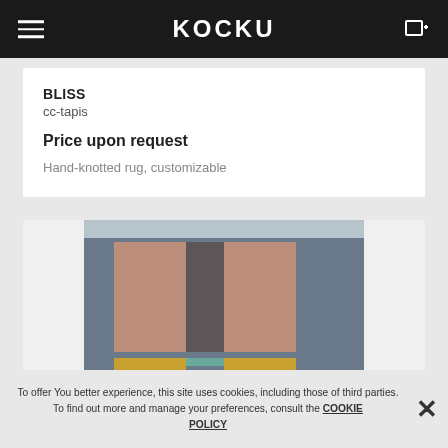KOCKU navigation bar with hamburger menu and cart icon
BLISS
cc-tapis
Price upon request
Hand-knotted rug, customizable
[Figure (photo): Photo of the BLISS rug by cc-tapis showing a hand-knotted rug with blue-grey background and salmon/peach rectangular panels with dark grey accents and gold/yellow details at the bottom edge]
To offer You better experience, this site uses cookies, including those of third parties. To find out more and manage your preferences, consult the COOKIE POLICY